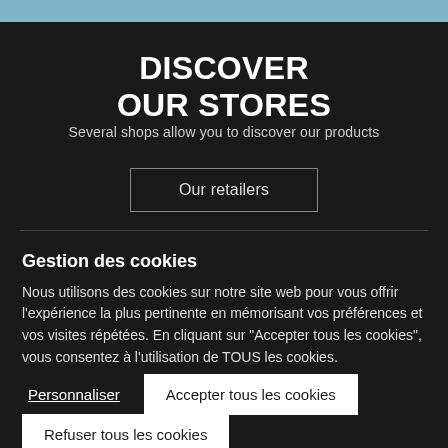DISCOVER OUR STORES
Several shops allow you to discover our products
Our retailers
Gestion des cookies
Nous utilisons des cookies sur notre site web pour vous offrir l'expérience la plus pertinente en mémorisant vos préférences et vos visites répétées. En cliquant sur "Accepter tous les cookies", vous consentez à l'utilisation de TOUS les cookies.
Personnaliser
Accepter tous les cookies
Refuser tous les cookies